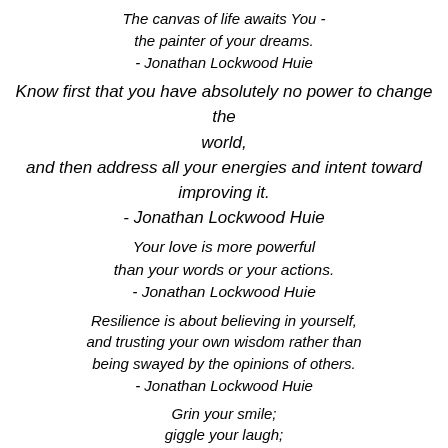The canvas of life awaits You -
the painter of your dreams.
- Jonathan Lockwood Huie
Know first that you have absolutely no power to change the world,
and then address all your energies and intent toward improving it.
- Jonathan Lockwood Huie
Your love is more powerful
than your words or your actions.
- Jonathan Lockwood Huie
Resilience is about believing in yourself,
and trusting your own wisdom rather than
being swayed by the opinions of others.
- Jonathan Lockwood Huie
Grin your smile;
giggle your laugh;
unfurl your joy.
- Jonathan Lockwood Huie
Never give up on the most important goals in your life.
Never give up on your life purpose.